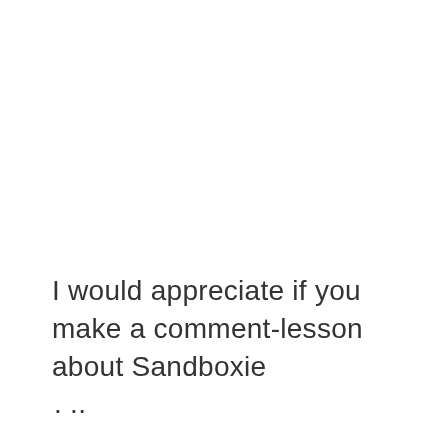I would appreciate if you make a comment-lesson about Sandboxie . ..